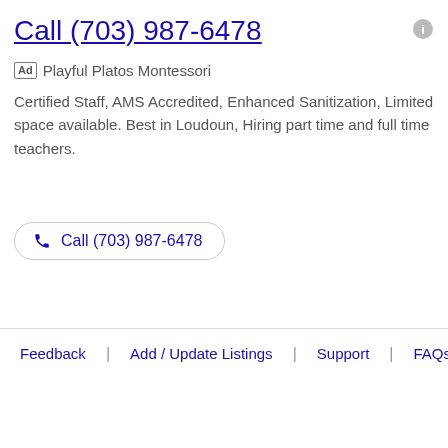Call (703) 987-6478
Ad  Playful Platos Montessori
Certified Staff, AMS Accredited, Enhanced Sanitization, Limited space available. Best in Loudoun, Hiring part time and full time teachers.
Call (703) 987-6478
Feedback | Add / Update Listings | Support | FAQs